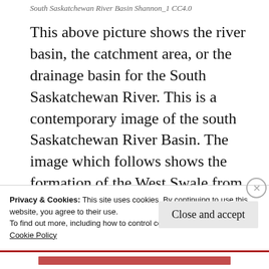South Saskatchewan River Basin Shannon_1 CC4.0
This above picture shows the river basin, the catchment area, or the drainage basin for the South Saskatchewan River. This is a contemporary image of the south Saskatchewan River Basin. The image which follows shows the formation of the West Swale from the Yorath Island Glacial Spillway. The hydrological
Privacy & Cookies: This site uses cookies. By continuing to use this website, you agree to their use.
To find out more, including how to control cookies, see here:
Cookie Policy
Close and accept